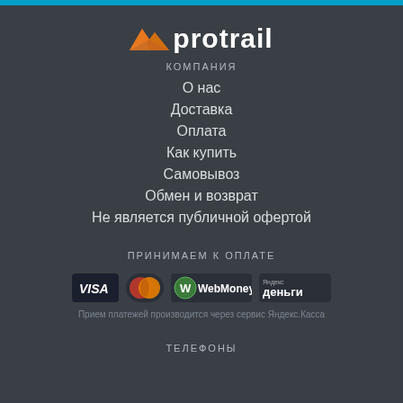[Figure (logo): Protrail logo with orange mountain/arrow icon and white text 'protrail']
КОМПАНИЯ
О нас
Доставка
Оплата
Как купить
Самовывоз
Обмен и возврат
Не является публичной офертой
ПРИНИМАЕМ К ОПЛАТЕ
[Figure (logo): Payment logos: VISA, MasterCard, WebMoney, Яндекс Деньги]
Прием платежей производится через сервис Яндекс.Касса
ТЕЛЕФОНЫ